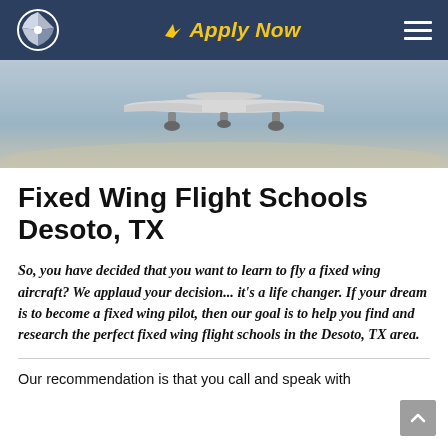Apply Now
[Figure (photo): Aerial photograph of the underside of a fixed-wing aircraft in flight over a landscape]
Fixed Wing Flight Schools Desoto, TX
So, you have decided that you want to learn to fly a fixed wing aircraft? We applaud your decision... it's a life changer. If your dream is to become a fixed wing pilot, then our goal is to help you find and research the perfect fixed wing flight schools in the Desoto, TX area.
Our recommendation is that you call and speak with